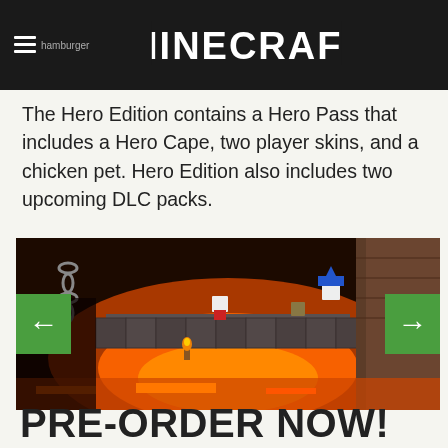MINECRAFT
The Hero Edition contains a Hero Pass that includes a Hero Cape, two player skins, and a chicken pet. Hero Edition also includes two upcoming DLC packs.
[Figure (screenshot): Minecraft Dungeons gameplay screenshot showing blocky characters on a bridge over lava in a dungeon environment, with green left and right navigation arrow buttons overlaid on the sides.]
PRE-ORDER NOW!